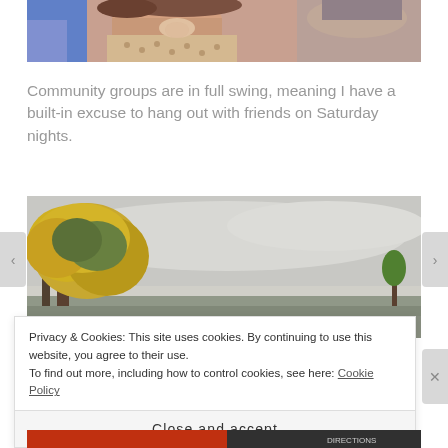[Figure (photo): Cropped photo of people with open mouths laughing, wearing colorful winter clothing and scarves]
Community groups are in full swing, meaning I have a built-in excuse to hang out with friends on Saturday nights.
[Figure (photo): Outdoor landscape photo showing autumn trees with yellow-green foliage on the left against a grey overcast sky]
Privacy & Cookies: This site uses cookies. By continuing to use this website, you agree to their use.
To find out more, including how to control cookies, see here: Cookie Policy
Close and accept